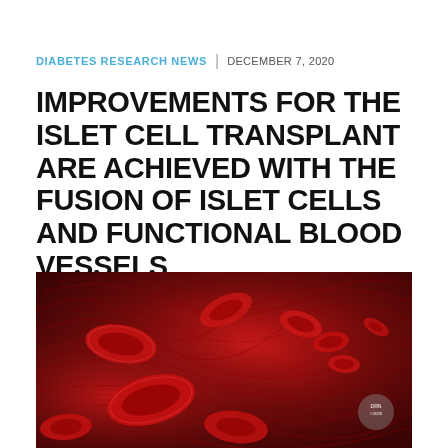DIABETES RESEARCH NEWS | DECEMBER 7, 2020
IMPROVEMENTS FOR THE ISLET CELL TRANSPLANT ARE ACHIEVED WITH THE FUSION OF ISLET CELLS AND FUNCTIONAL BLOOD VESSELS
[Figure (photo): Microscopic illustration of red blood cells flowing through a blood vessel, showing biconcave disc-shaped erythrocytes in a swirling red fibrous environment]